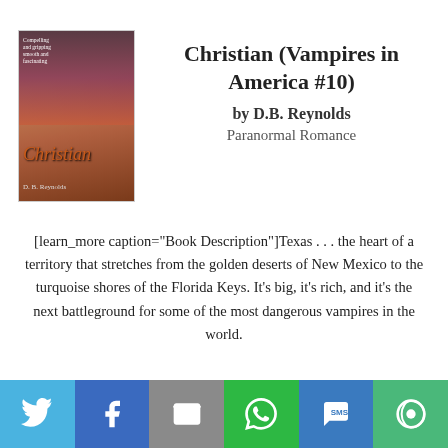[Figure (illustration): Book cover for Christian (Vampires in America #10) by D.B. Reynolds, showing a shirtless man against a purple/red sunset background with the title in italic red script and author name at bottom]
Christian (Vampires in America #10)
by D.B. Reynolds
Paranormal Romance
[learn_more caption="Book Description"]Texas . . . the heart of a territory that stretches from the golden deserts of New Mexico to the turquoise shores of the Florida Keys. It's big, it's rich, and it's the next battleground for some of the most dangerous vampires in the world.